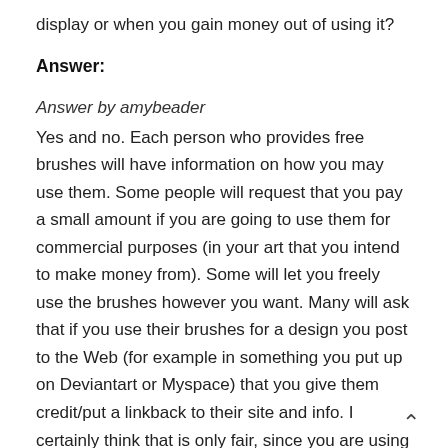display or when you gain money out of using it?
Answer:
Answer by amybeader
Yes and no. Each person who provides free brushes will have information on how you may use them. Some people will request that you pay a small amount if you are going to use them for commercial purposes (in your art that you intend to make money from). Some will let you freely use the brushes however you want. Many will ask that if you use their brushes for a design you post to the Web (for example in something you put up on Deviantart or Myspace) that you give them credit/put a linkback to their site and info. I certainly think that is only fair, since you are using something that another